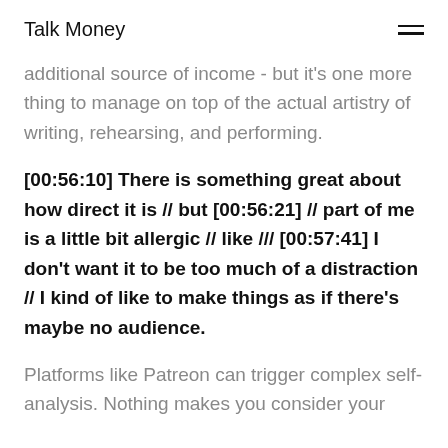Talk Money
additional source of income - but it's one more thing to manage on top of the actual artistry of writing, rehearsing, and performing.
[00:56:10] There is something great about how direct it is // but [00:56:21] // part of me is a little bit allergic // like /// [00:57:41] I don't want it to be too much of a distraction // I kind of like to make things as if there's maybe no audience.
Platforms like Patreon can trigger complex self-analysis. Nothing makes you consider your